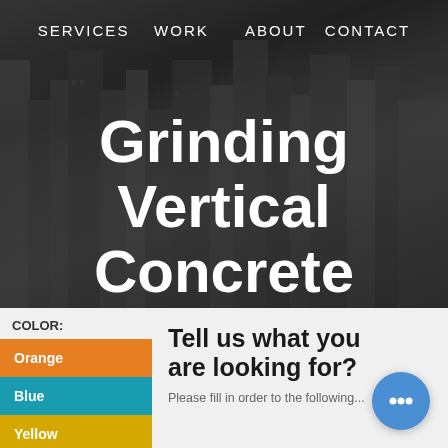SERVICES  WORK  ABOUT  CONTACT
Grinding Vertical Concrete
[Figure (screenshot): Website screenshot showing a dark blurred cityscape hero background with navigation menu and large white bold heading 'Grinding Vertical Concrete', with a color theme sidebar showing Orange, Blue, Yellow options and a contact form section below]
COLOR:
Orange
Blue
Yellow
Tell us what you are looking for?
Please fill in order to the following...